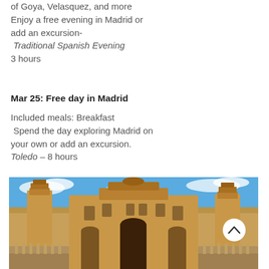of Goya, Velasquez, and more Enjoy a free evening in Madrid or add an excursion- Traditional Spanish Evening 3 hours
Mar 25: Free day in Madrid
Included meals: Breakfast Spend the day exploring Madrid on your own or add an excursion. Toledo – 8 hours
[Figure (photo): Photograph of a grand Spanish baroque building (Plaza de España, Seville) with ornate facade, central archway, towers, blue sky with clouds]